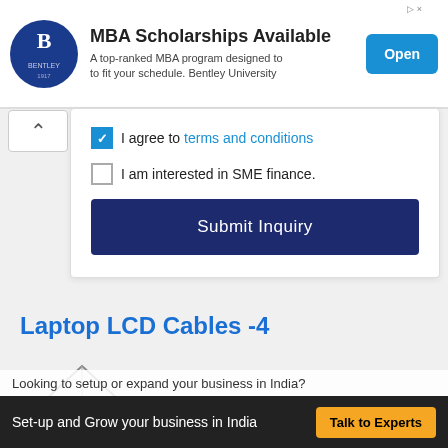[Figure (screenshot): Ad banner for Bentley University MBA Scholarships with logo, text, and Open button]
I agree to terms and conditions
I am interested in SME finance.
Submit Inquiry
Laptop LCD Cables -4
[Figure (photo): Partial product image of laptop LCD cable]
Looking to setup or expand your business in India?
Set-up and Grow your business in India
Talk to Experts